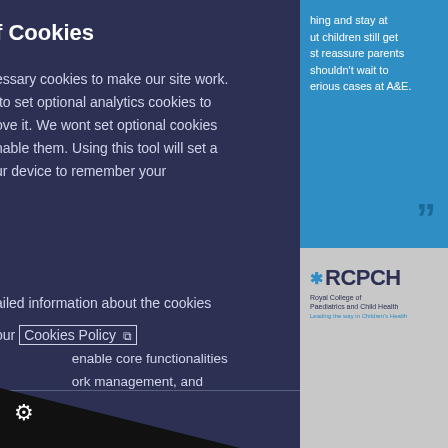f Cookies
essary cookies to make our site work. to set optional analytics cookies to ove it. We wont set optional cookies nable them. Using this tool will set a ur device to remember your
ailed information about the cookies our Cookies Policy
ookies – Always
enable core functionalities ork management, and
[Figure (illustration): Blue quote box with white text about children staying at home and reassuring parents, not waiting for serious cases at A&E, with closing quotation marks]
[Figure (logo): RCPCH Royal College of Paediatrics and Child Health logo on grey background]